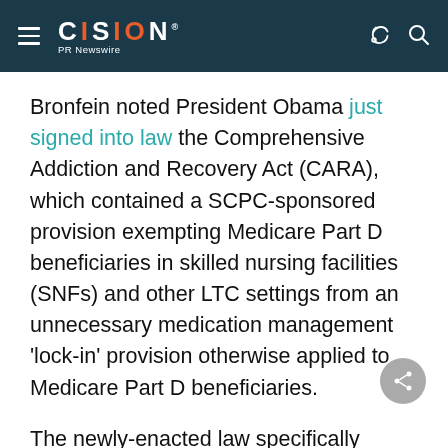CISION PR Newswire
Bronfein noted President Obama just signed into law the Comprehensive Addiction and Recovery Act (CARA), which contained a SCPC-sponsored provision exempting Medicare Part D beneficiaries in skilled nursing facilities (SNFs) and other LTC settings from an unnecessary medication management 'lock-in' provision otherwise applied to Medicare Part D beneficiaries.
The newly-enacted law specifically recognizes the additional requirements already imposed on LTC pharmacies under Medicare and Medicaid Requirements of Participation and Medicare Part D